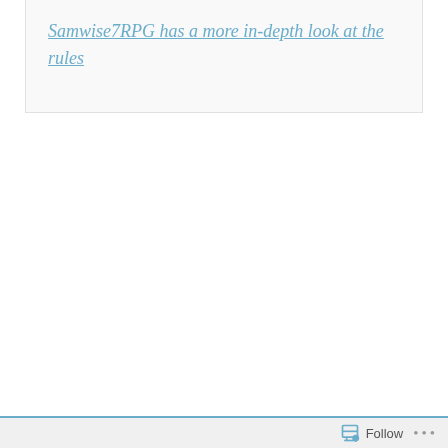Samwise7RPG has a more in-depth look at the rules
Share this:
Twitter
Facebook
Reddit
Email
Print
Pinterest
Follow ...